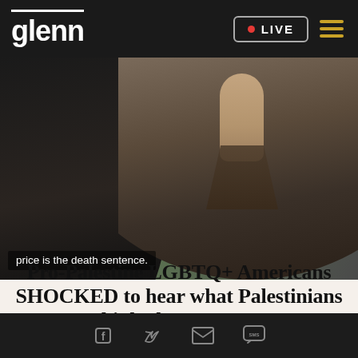glenn | LIVE
[Figure (photo): Video thumbnail showing two people, with subtitle text reading 'price is the death sentence.']
Pro-Palestine LGBTQ+ Americans SHOCKED to hear what Palestinians think about THEM
Social share icons: Facebook, Twitter, Email, SMS